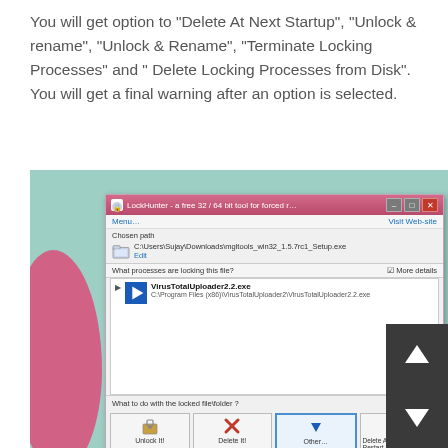You will get option to “Delete At Next Startup”, “Unlock & rename”, “Unlock & Rename”, “Terminate Locking Processes” and ” Delete Locking Processes from Disk”. You will get a final warning after an option is selected.
[Figure (screenshot): Screenshot of LockHunter application window showing VirusTotalUploader2.2.exe locking a file at C:\Users\Sujay\Downloads\mgltools_win32_1.5.7rc1_Setup.exe, with action buttons: Unlock It!, Delete It!, Other..., Delete At Next System Restart]